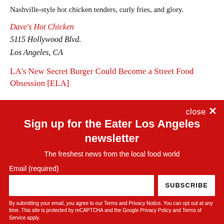Nashville-style hot chicken tenders, curly fries, and glory.
Dave's Hot Chicken
5115 Hollywood Blvd.
Los Angeles, CA
LA's New Secret Burger Could Become a Street Food Obsession [ELA]
close ✕
Sign up for the Eater Los Angeles newsletter
The freshest news from the local food world
Email (required)
SUBSCRIBE
By submitting your email, you agree to our Terms and Privacy Notice. You can opt out at any time. This site is protected by reCAPTCHA and the Google Privacy Policy and Terms of Service apply.